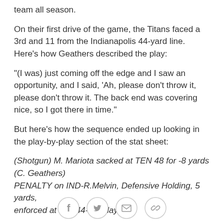team all season.
On their first drive of the game, the Titans faced a 3rd and 11 from the Indianapolis 44-yard line. Here's how Geathers described the play:
"(I was) just coming off the edge and I saw an opportunity, and I said, 'Ah, please don't throw it, please don't throw it. The back end was covering nice, so I got there in time."
But here's how the sequence ended up looking in the play-by-play section of the stat sheet:
(Shotgun) M. Mariota sacked at TEN 48 for -8 yards (C. Geathers)
PENALTY on IND-R.Melvin, Defensive Holding, 5 yards, enforced at IND 44-No Play
[Figure (other): Social sharing icons: Facebook, Twitter, Email, Link]